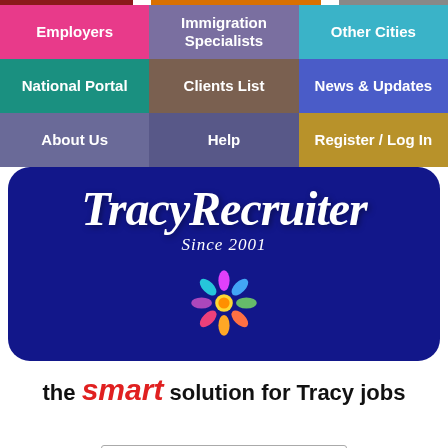[Figure (screenshot): Navigation grid with 9 colored menu buttons: Employers (pink), Immigration Specialists (purple), Other Cities (teal-blue), National Portal (teal), Clients List (brown), News & Updates (blue), About Us (slate), Help (mid-purple), Register/Log In (gold)]
[Figure (logo): TracyRecruiter logo in dark navy rounded rectangle. Script text 'TracyRecruiter' in white italic, 'Since 2001' subtitle, and colorful flower/people icon below.]
the smart solution for Tracy jobs
[Figure (other): Google Translate widget: G logo followed by 'Select Language' text and dropdown arrow]